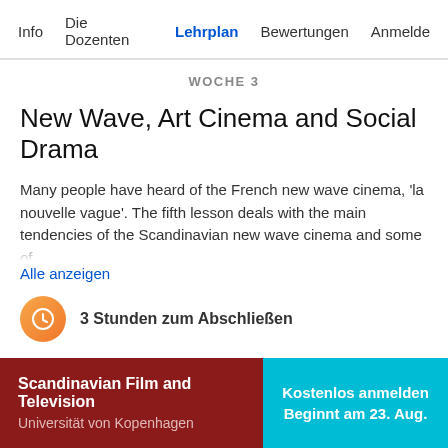Info   Die Dozenten   Lehrplan   Bewertungen   Anmelde
WOCHE 3
New Wave, Art Cinema and Social Drama
Many people have heard of the French new wave cinema, 'la nouvelle vague'. The fifth lesson deals with the main tendencies of the Scandinavian new wave cinema and some of
Alle anzeigen
3 Stunden zum Abschließen
Scandinavian Film and Television
Universität von Kopenhagen
Kostenlos anmelden
Beginnt am 23. Aug.